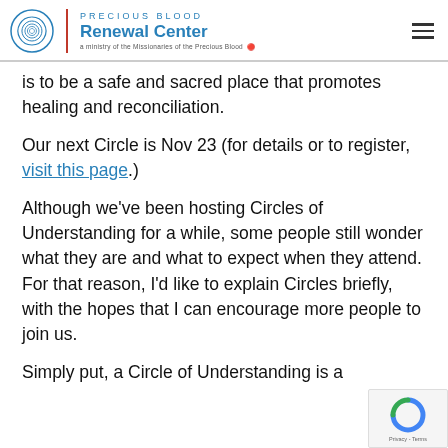Precious Blood Renewal Center — a ministry of the Missionaries of the Precious Blood
is to be a safe and sacred place that promotes healing and reconciliation.
Our next Circle is Nov 23 (for details or to register, visit this page.)
Although we've been hosting Circles of Understanding for a while, some people still wonder what they are and what to expect when they attend. For that reason, I'd like to explain Circles briefly, with the hopes that I can encourage more people to join us.
Simply put, a Circle of Understanding is a